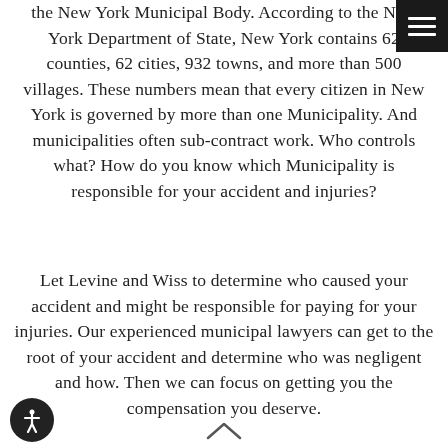the New York Municipal Body. According to the New York Department of State, New York contains 62 counties, 62 cities, 932 towns, and more than 500 villages. These numbers mean that every citizen in New York is governed by more than one Municipality. And municipalities often sub-contract work. Who controls what? How do you know which Municipality is responsible for your accident and injuries?
Let Levine and Wiss to determine who caused your accident and might be responsible for paying for your injuries. Our experienced municipal lawyers can get to the root of your accident and determine who was negligent and how. Then we can focus on getting you the compensation you deserve.